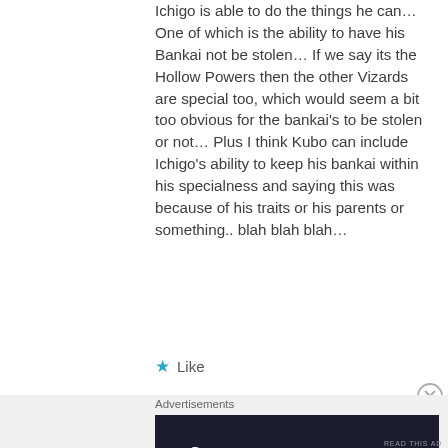Ichigo is able to do the things he can… One of which is the ability to have his Bankai not be stolen… If we say its the Hollow Powers then the other Vizards are special too, which would seem a bit too obvious for the bankai's to be stolen or not… Plus I think Kubo can include Ichigo's ability to keep his bankai within his specialness and saying this was because of his traits or his parents or something.. blah blah blah…
Like
Advertisements
[Figure (other): Advertisement banner with dark navy background showing a logo mark '2' and text 'Fewer meetings, more work.']